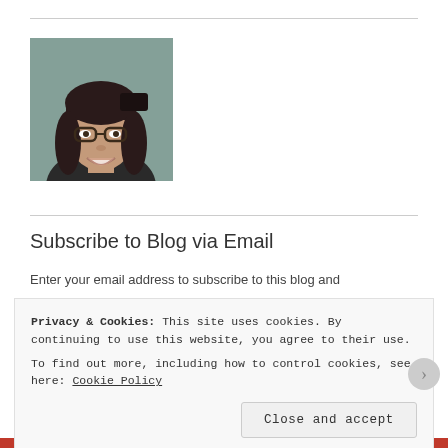[Figure (photo): Headshot photo of a woman with dark hair, bangs, and glasses, smiling at the camera against a blurred background.]
Subscribe to Blog via Email
Enter your email address to subscribe to this blog and
Privacy & Cookies: This site uses cookies. By continuing to use this website, you agree to their use.
To find out more, including how to control cookies, see here: Cookie Policy
Close and accept